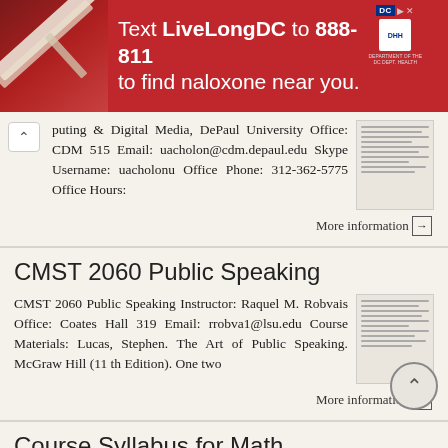[Figure (screenshot): Red advertisement banner: Text LiveLongDC to 888-811 to find naloxone near you. DC and DHH logos visible.]
puting & Digital Media, DePaul University Office: CDM 515 Email: uacholon@cdm.depaul.edu Skype Username: uacholonu Office Phone: 312-362-5775 Office Hours:
More information →
CMST 2060 Public Speaking
CMST 2060 Public Speaking Instructor: Raquel M. Robvais Office: Coates Hall 319 Email: rrobva1@lsu.edu Course Materials: Lucas, Stephen. The Art of Public Speaking. McGraw Hill (11 th Edition). One two
More information →
Course Syllabus for Math